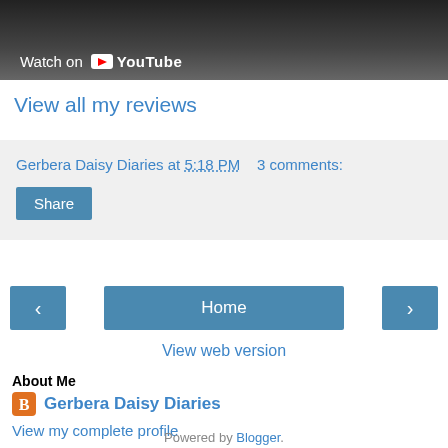[Figure (screenshot): YouTube video thumbnail with 'Watch on YouTube' overlay text and play button icon, showing a dark outdoor scene with fence]
View all my reviews
Gerbera Daisy Diaries at 5:18 PM    3 comments:
Share
Home
View web version
About Me
Gerbera Daisy Diaries
View my complete profile
Powered by Blogger.